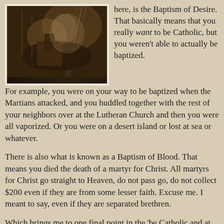[Figure (photo): Sepia-toned historical photograph showing an industrial or wartime scene with smoke, machinery, and utility poles. Caption text at bottom.]
here, is the Baptism of Desire. That basically means that you really want to be Catholic, but you weren't able to actually be baptized. For example, you were on your way to be baptized when the Martians attacked, and you huddled together with the rest of your neighbors over at the Lutheran Church and then you were all vaporized. Or you were on a desert island or lost at sea or whatever.
There is also what is known as a Baptism of Blood. That means you died the death of a martyr for Christ. All martyrs for Christ go straight to Heaven, do not pass go, do not collect $200 even if they are from some lesser faith. Excuse me. I meant to say, even if they are separated brethren.
Which brings me to one final point in the 'be Catholic and at least you won't have to worry about it' discussion we've just